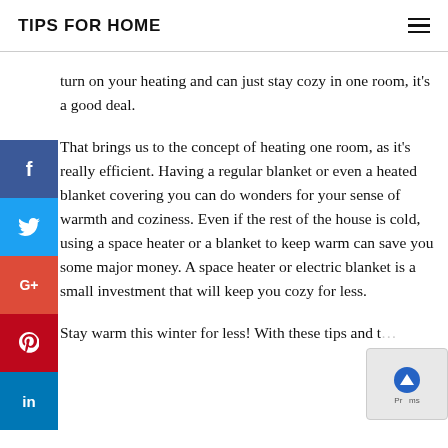TIPS FOR HOME
turn on your heating and can just stay cozy in one room, it's a good deal.
That brings us to the concept of heating one room, as it's really efficient. Having a regular blanket or even a heated blanket covering you can do wonders for your sense of warmth and coziness. Even if the rest of the house is cold, using a space heater or a blanket to keep warm can save you some major money. A space heater or electric blanket is a small investment that will keep you cozy for less.
Stay warm this winter for less! With these tips and tricks, you can easily start your way to warmth without having...